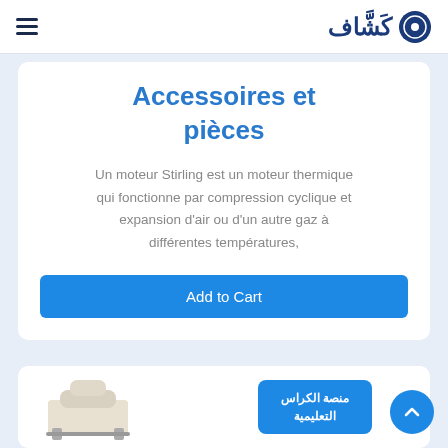كشّاف (logo/navigation bar)
Accessoires et pièces
Un moteur Stirling est un moteur thermique qui fonctionne par compression cyclique et expansion d'air ou d'un autre gaz à différentes températures,
Add to Cart
[Figure (photo): Bottom portion of a product card showing a Stirling engine component (white/cream colored device with metal frame) partially visible]
منصة الكراس التعليمية